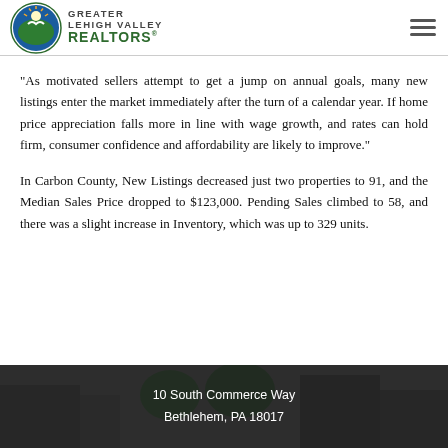Greater Lehigh Valley REALTORS
“As motivated sellers attempt to get a jump on annual goals, many new listings enter the market immediately after the turn of a calendar year. If home price appreciation falls more in line with wage growth, and rates can hold firm, consumer confidence and affordability are likely to improve.”
In Carbon County, New Listings decreased just two properties to 91, and the Median Sales Price dropped to $123,000. Pending Sales climbed to 58, and there was a slight increase in Inventory, which was up to 329 units.
10 South Commerce Way
Bethlehem, PA 18017